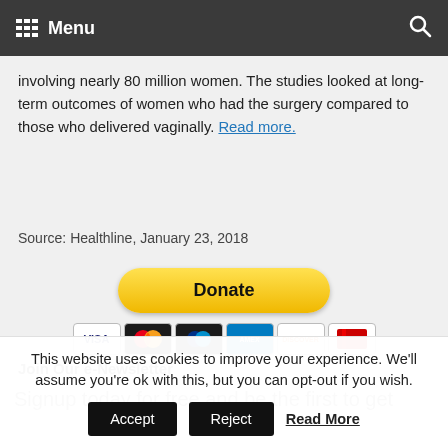Menu
involving nearly 80 million women. The studies looked at long-term outcomes of women who had the surgery compared to those who delivered vaginally. Read more.
Source: Healthline, January 23, 2018
[Figure (other): PayPal Donate button with payment card icons (Visa, Mastercard, Discover, and others)]
Join Our e-Newsletter
Signup today for free and be the first to get
This website uses cookies to improve your experience. We'll assume you're ok with this, but you can opt-out if you wish.
Accept   Reject   Read More